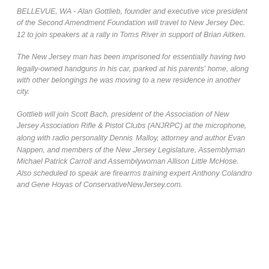BELLEVUE, WA - Alan Gottlieb, founder and executive vice president of the Second Amendment Foundation will travel to New Jersey Dec. 12 to join speakers at a rally in Toms River in support of Brian Aitken.
The New Jersey man has been imprisoned for essentially having two legally-owned handguns in his car, parked at his parents' home, along with other belongings he was moving to a new residence in another city.
Gottlieb will join Scott Bach, president of the Association of New Jersey Association Rifle & Pistol Clubs (ANJRPC) at the microphone, along with radio personality Dennis Malloy, attorney and author Evan Nappen, and members of the New Jersey Legislature, Assemblyman Michael Patrick Carroll and Assemblywoman Allison Little McHose. Also scheduled to speak are firearms training expert Anthony Colandro and Gene Hoyas of ConservativeNewJersey.com.